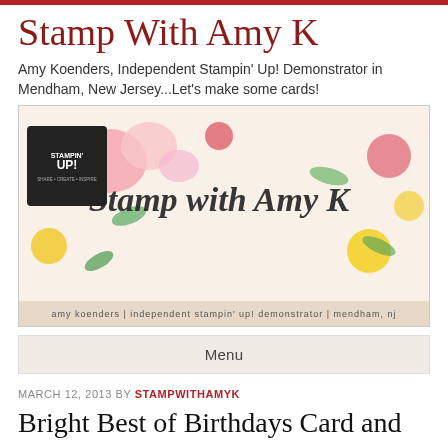Stamp With Amy K
Amy Koenders, Independent Stampin' Up! Demonstrator in Mendham, New Jersey...Let's make some cards!
[Figure (illustration): Banner image for 'Stamp with Amy K' blog featuring colorful watercolor flowers (pink, yellow, red, green) with script text reading 'Stamp with Amy K' and a Stampin' Up! logo on the left. Bottom text reads: amy koenders | independent stampin' up! demonstrator | mendham, nj]
Menu
MARCH 12, 2013 BY STAMPWITHAMYK
Bright Best of Birthdays Card and an Ordering Special!!